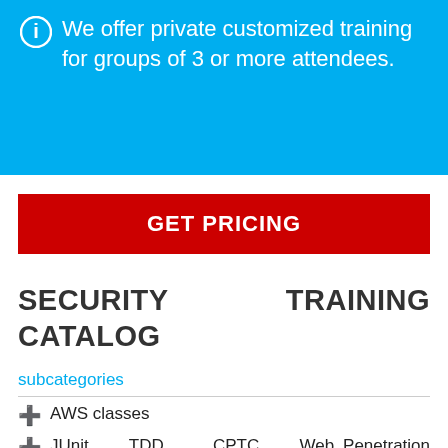We offer private customized training for groups of 3 or more attendees.
GET PRICING
SECURITY TRAINING CATALOG
subcategories
AWS classes
JUnit, TDD, CPTC, Web Penetration classes
AWS Certified Cloud Practitioner Crash Class in